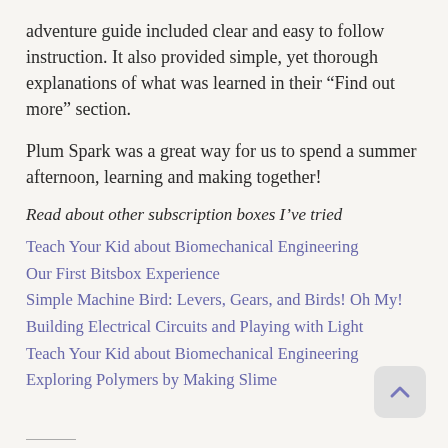adventure guide included clear and easy to follow instruction. It also provided simple, yet thorough explanations of what was learned in their “Find out more” section.
Plum Spark was a great way for us to spend a summer afternoon, learning and making together!
Read about other subscription boxes I’ve tried
Teach Your Kid about Biomechanical Engineering
Our First Bitsbox Experience
Simple Machine Bird: Levers, Gears, and Birds! Oh My!
Building Electrical Circuits and Playing with Light
Teach Your Kid about Biomechanical Engineering
Exploring Polymers by Making Slime